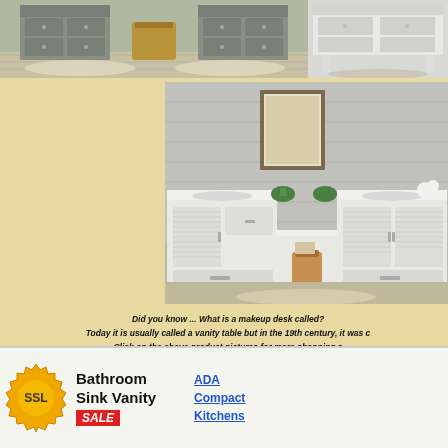[Figure (photo): Top left photo showing grey bathroom double vanity with drawers on a patterned tile floor with bath mats]
[Figure (photo): Top right partial photo showing white bathroom vanity with drawers on light floor]
[Figure (photo): Main center photo showing white bathroom vanity set with louvered doors, makeup desk in center, plants and framed art on wall]
Did you know ... What is a makeup desk called? Today it is usually called a vanity table but in the 19th century, it was c... Click on the above product pictures for more shopping s...
[Figure (logo): SSL security badge - gold circular seal with SSL text]
Bathroom Sink Vanity SALE
ADA Compact Kitchens